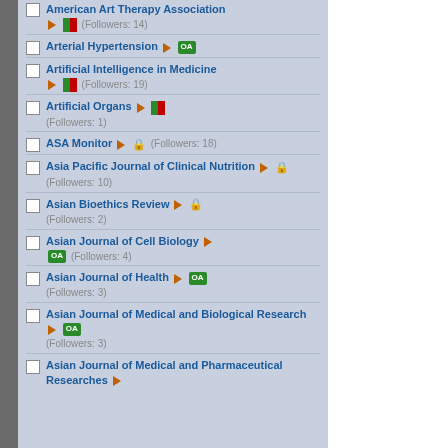American Art Therapy Association (Followers: 14)
Arterial Hypertension OA (Followers: implied)
Artificial Intelligence in Medicine (Followers: 19)
Artificial Organs (Followers: 1)
ASA Monitor (Followers: 18)
Asia Pacific Journal of Clinical Nutrition (Followers: 10)
Asian Bioethics Review (Followers: 2)
Asian Journal of Cell Biology OA (Followers: 4)
Asian Journal of Health OA (Followers: 3)
Asian Journal of Medical and Biological Research OA (Followers: 3)
Asian Journal of Medical and Pharmaceutical Researches